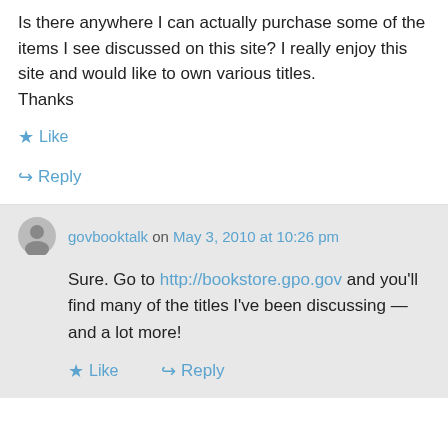Is there anywhere I can actually purchase some of the items I see discussed on this site? I really enjoy this site and would like to own various titles.
Thanks
★ Like
↪ Reply
govbooktalk on May 3, 2010 at 10:26 pm
Sure. Go to http://bookstore.gpo.gov and you'll find many of the titles I've been discussing — and a lot more!
★ Like
↪ Reply